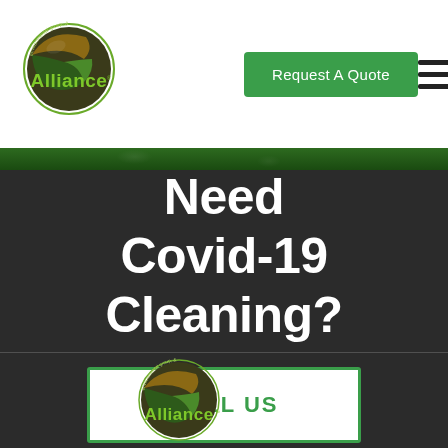[Figure (logo): Alliance Environmental Group logo - circular brown/green sphere with 'Alliance' text in green]
Request A Quote
Need Covid-19 Cleaning?
CALL US
[Figure (logo): Alliance Environmental Group footer logo - larger version with circular emblem and 'Alliance' text in green with trademark symbol]